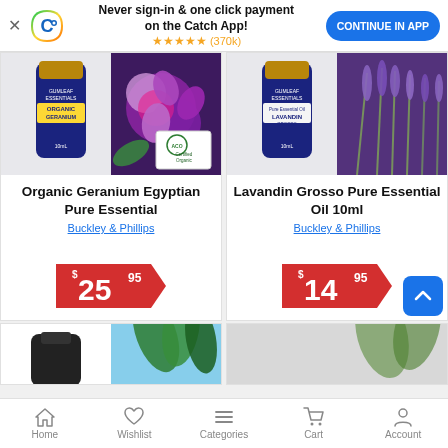Never sign-in & one click payment on the Catch App! ★★★★★ (370k) CONTINUE IN APP
[Figure (photo): Organic Geranium Egyptian Pure Essential oil bottle with purple geranium flowers and ACO Certified Organic badge]
Organic Geranium Egyptian Pure Essential
Buckley & Phillips
$25.95
[Figure (photo): Lavandin Grosso Pure Essential Oil 10ml bottle with lavender flowers]
Lavandin Grosso Pure Essential Oil 10ml
Buckley & Phillips
$14.95
[Figure (photo): Partial product images in bottom row]
Home  Wishlist  Categories  Cart  Account